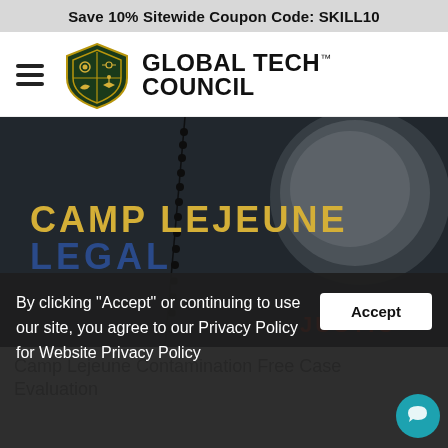Save 10% Sitewide Coupon Code: SKILL10
[Figure (logo): Global Tech Council logo with shield/crest emblem and text 'GLOBAL TECH COUNCIL']
[Figure (photo): Hero banner image with text 'CAMP LEJEUNE LEGAL' in gold and blue letters, with 'JUSTIC' visible in red at bottom right, dark textured background with rosary beads and magnifying glass]
Camp Lejeune Contamination Free Case Evaluation
By clicking "Accept" or continuing to use our site, you agree to our Privacy Policy for Website Privacy Policy
Accept